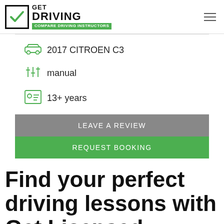GET DRIVING - COMPARE DRIVING INSTRUCTORS
2017 CITROEN C3
manual
13+ years
LEAVE A REVIEW
REQUEST BOOKING
Find your perfect driving lessons with Get Licensed